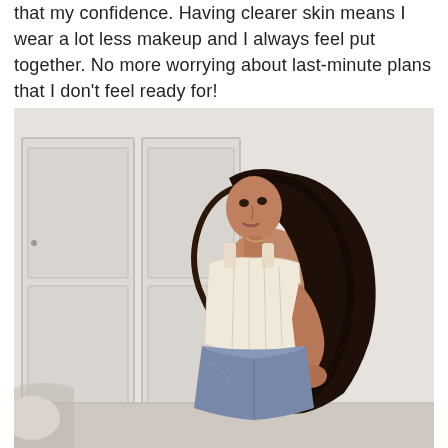that my confidence. Having clearer skin means I wear a lot less makeup and I always feel put together. No more worrying about last-minute plans that I don't feel ready for!
[Figure (photo): Young woman with long dark wavy hair, wearing a cream/off-white corset crop top and denim shorts, looking over her shoulder toward the camera. She is standing in front of a white wall with white doors/panels and light wood flooring.]